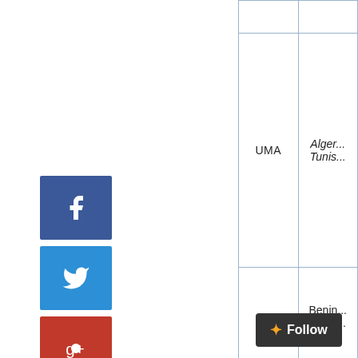[Figure (infographic): Social media share buttons: Facebook (dark blue), Twitter (blue), Google+ (red), LinkedIn (blue), Pinterest (pink)]
|  |  |
| --- | --- |
| UMA | Alger...
Tunis... |
|  | Benin...
Repu... |
Follow